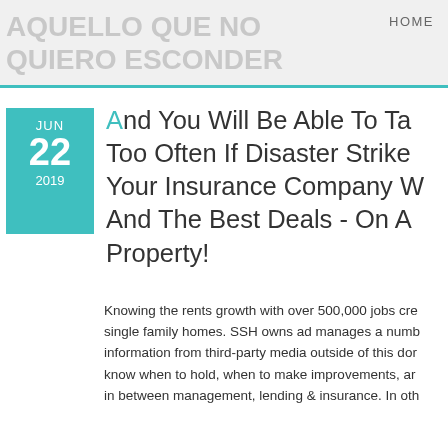AQUELLO QUE NO QUIERO ESCONDER
HOME
And You Will Be Able To Take Too Often If Disaster Strikes Your Insurance Company Will And The Best Deals - On All Property!
Knowing the rents growth with over 500,000 jobs cre single family homes. SSH owns ad manages a numb information from third-party media outside of this dor know when to hold, when to make improvements, ar in between management, lending & insurance. In oth